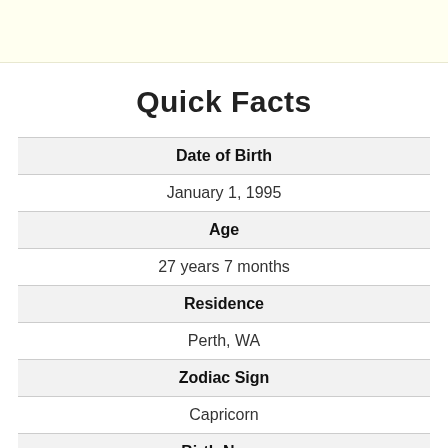Quick Facts
| Field | Value |
| --- | --- |
| Date of Birth | January 1, 1995 |
| Age | 27 years 7 months |
| Residence | Perth, WA |
| Zodiac Sign | Capricorn |
| Birth Name | Brooke Blurton |
| Nationality |  |